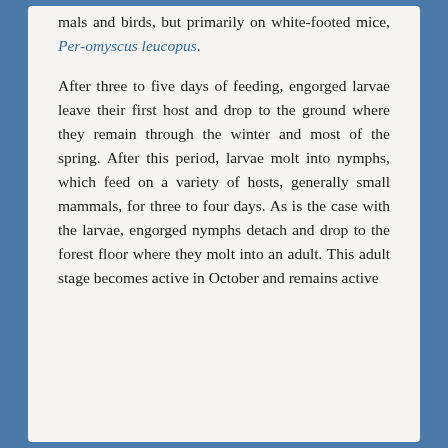mals and birds, but primarily on white-footed mice, Per-omyscus leucopus. After three to five days of feeding, engorged larvae leave their first host and drop to the ground where they remain through the winter and most of the spring. After this period, larvae molt into nymphs, which feed on a variety of hosts, generally small mammals, for three to four days. As is the case with the larvae, engorged nymphs detach and drop to the forest floor where they molt into an adult. This adult stage becomes active in October and remains active